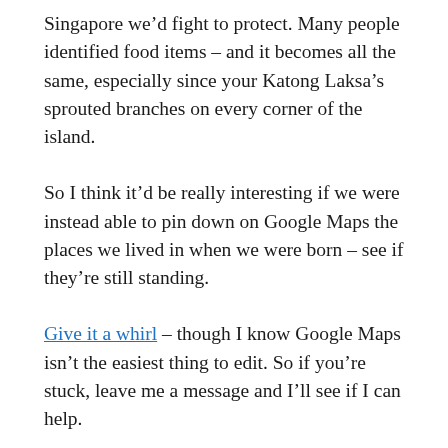Singapore we'd fight to protect. Many people identified food items – and it becomes all the same, especially since your Katong Laksa's sprouted branches on every corner of the island.
So I think it'd be really interesting if we were instead able to pin down on Google Maps the places we lived in when we were born – see if they're still standing.
Give it a whirl – though I know Google Maps isn't the easiest thing to edit. So if you're stuck, leave me a message and I'll see if I can help.